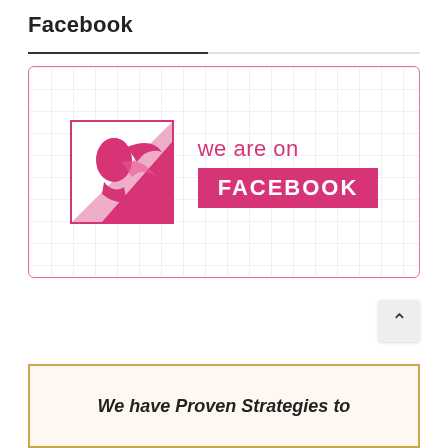Facebook
[Figure (logo): We are on Facebook promotional graphic with pink Facebook logo icon on left and 'we are on FACEBOOK' text on right with pink banner]
We have Proven Strategies to